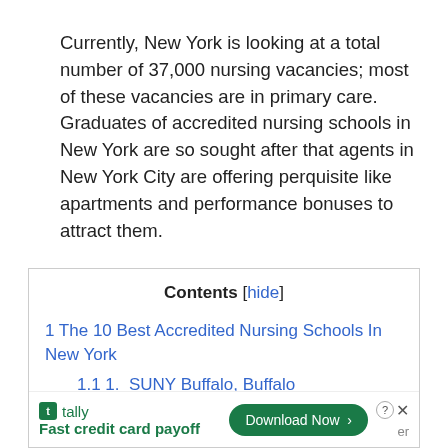Currently, New York is looking at a total number of 37,000 nursing vacancies; most of these vacancies are in primary care. Graduates of accredited nursing schools in New York are so sought after that agents in New York City are offering perquisite like apartments and performance bonuses to attract them.
| Contents [hide] |
| --- |
| 1 The 10 Best Accredited Nursing Schools In New York |
| 1.1 1.  SUNY Buffalo, Buffalo |
| 1.2 2.  Columbia University, New York |